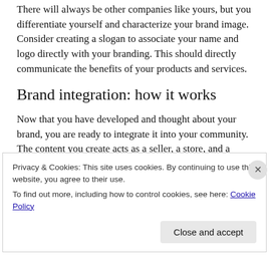There will always be other companies like yours, but you differentiate yourself and characterize your brand image. Consider creating a slogan to associate your name and logo directly with your branding. This should directly communicate the benefits of your products and services.
Brand integration: how it works
Now that you have developed and thought about your brand, you are ready to integrate it into your community. The content you create acts as a seller, a store, and a marketing department for your company.
Privacy & Cookies: This site uses cookies. By continuing to use this website, you agree to their use.
To find out more, including how to control cookies, see here: Cookie Policy